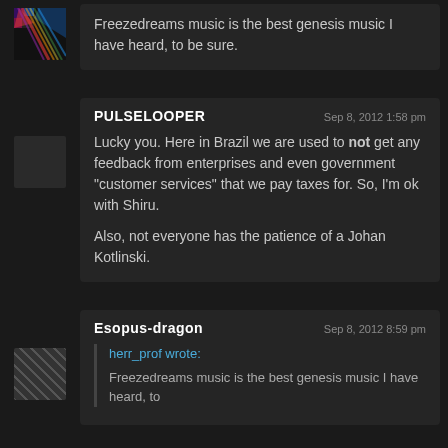Freezedreams music is the best genesis music I have heard, to be sure.
PULSELOOPER
Sep 8, 2012 1:58 pm
Lucky you. Here in Brazil we are used to not get any feedback from enterprises and even government "customer services" that we pay taxes for. So, I'm ok with Shiru.

Also, not everyone has the patience of a Johan Kotlinski.
Esopus-dragon
Sep 8, 2012 8:59 pm
herr_prof wrote:
Freezedreams music is the best genesis music I have heard, to